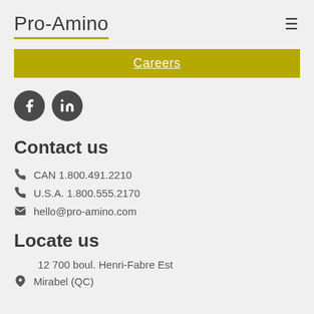Pro-Amino
Careers
[Figure (other): Social media icons: Facebook and LinkedIn circular dark grey buttons]
Contact us
CAN 1.800.491.2210
U.S.A. 1.800.555.2170
hello@pro-amino.com
Locate us
12 700 boul. Henri-Fabre Est
Mirabel (QC)